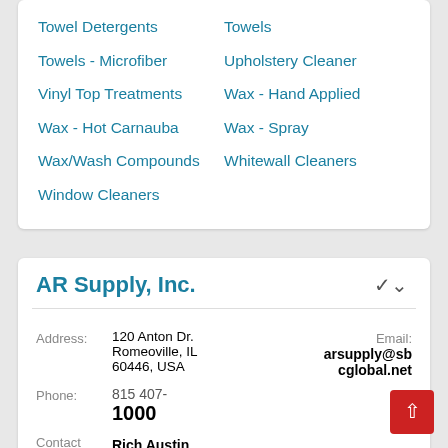Towel Detergents
Towels
Towels - Microfiber
Upholstery Cleaner
Vinyl Top Treatments
Wax - Hand Applied
Wax - Hot Carnauba
Wax - Spray
Wax/Wash Compounds
Whitewall Cleaners
Window Cleaners
AR Supply, Inc.
Address: 120 Anton Dr. Romeoville, IL 60446, USA
Email: arsupply@sbcglobal.net
Phone: 815 407-1000
Contact Name: Rich Austin